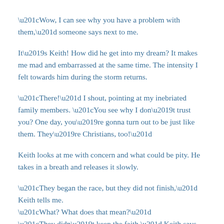“Wow, I can see why you have a problem with them,” someone says next to me.
It’s Keith! How did he get into my dream? It makes me mad and embarrassed at the same time. The intensity I felt towards him during the storm returns.
“There!” I shout, pointing at my inebriated family members. “You see why I don’t trust you? One day, you’re gonna turn out to be just like them. They’re Christians, too!”
Keith looks at me with concern and what could be pity. He takes in a breath and releases it slowly.
“They began the race, but they did not finish,” Keith tells me.
“What? What does that mean?”
“They didn’t keep the faith,” Keith says sadly. “They denied Christ